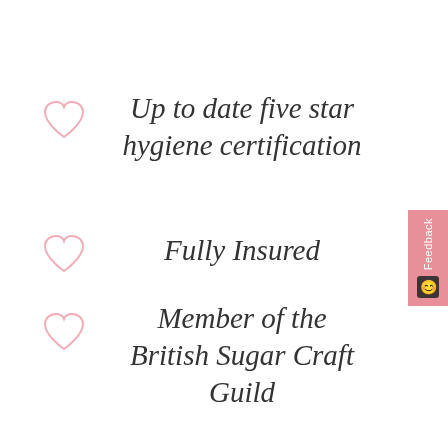Up to date five star hygiene certification
Fully Insured
Member of the British Sugar Craft Guild